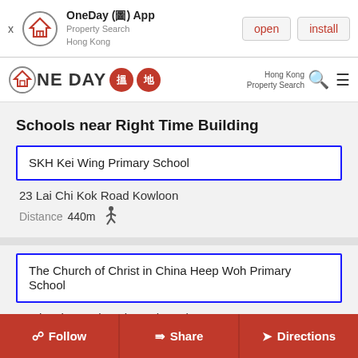OneDay (圖) App · Property Search Hong Kong · open · install
[Figure (logo): OneDay 搵地 Hong Kong Property Search logo and navigation bar with search icon and hamburger menu]
Schools near Right Time Building
SKH Kei Wing Primary School
23 Lai Chi Kok Road Kowloon
Distance 440m
The Church of Christ in China Heep Woh Primary School
191b Prince Edward Road Kowloon
Follow   Share   Directions